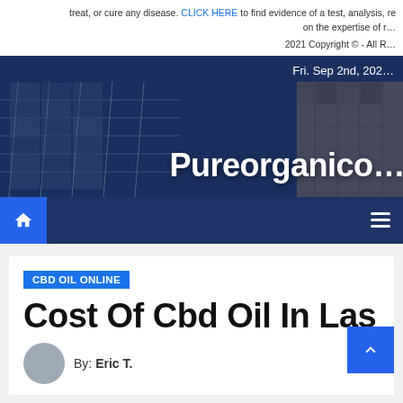treat, or cure any disease. CLICK HERE to find evidence of a test, analysis, re… on the expertise of r…
2021 Copyright © - All R…
Fri. Sep 2nd, 202…
Pureorganico…
CBD OIL ONLINE
Cost Of Cbd Oil In Las V…
By: Eric T.